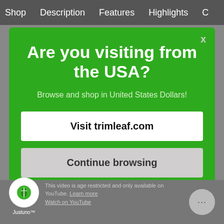Shop   Description   Features   Highlights   C
Are you visiting from the USA?
Browse and shop in United States Dollars!
Visit trimleaf.com
Continue browsing
This video is age restricted and only available on YouTube. Learn more
Watch on YouTube
[Figure (logo): Justuno leaf logo badge circle with green leaf icon and 'Justuno™' label]
[Figure (other): Chat button circle with ellipsis (...)]